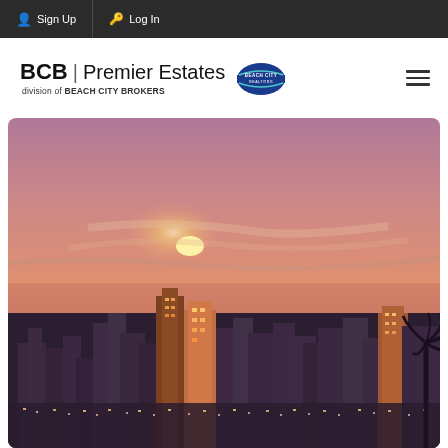Sign Up  Log In
[Figure (logo): BCB Premier Estates logo with Beach City Brokers circular emblem]
[Figure (photo): City skyline at sunset/dusk with illuminated skyscrapers and warm orange-pink sky, palm tree silhouette on right edge]